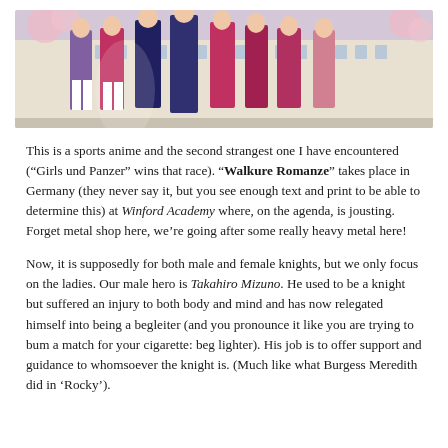[Figure (illustration): Anime illustration showing a group of characters in school uniforms standing together, with a European-style building in the background and cherry blossoms.]
This is a sports anime and the second strangest one I have encountered (“Girls und Panzer” wins that race). “Walkure Romanze” takes place in Germany (they never say it, but you see enough text and print to be able to determine this) at Winford Academy where, on the agenda, is jousting. Forget metal shop here, we’re going after some really heavy metal here!
Now, it is supposedly for both male and female knights, but we only focus on the ladies. Our male hero is Takahiro Mizuno. He used to be a knight but suffered an injury to both body and mind and has now relegated himself into being a begleiter (and you pronounce it like you are trying to bum a match for your cigarette: beg lighter). His job is to offer support and guidance to whomsoever the knight is. (Much like what Burgess Meredith did in ‘Rocky’).